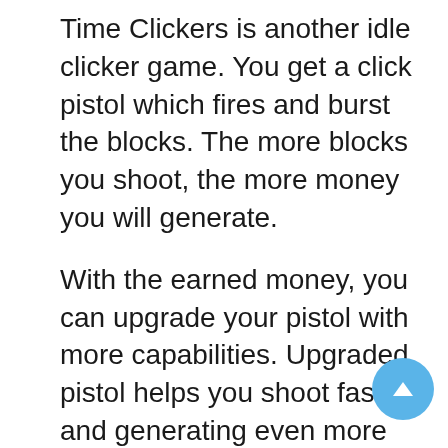Time Clickers is another idle clicker game. You get a click pistol which fires and burst the blocks. The more blocks you shoot, the more money you will generate.
With the earned money, you can upgrade your pistol with more capabilities. Upgraded pistol helps you shoot faster and generating even more money!
There are different levels in this incremental game and difficulty keeps increasing with every level.